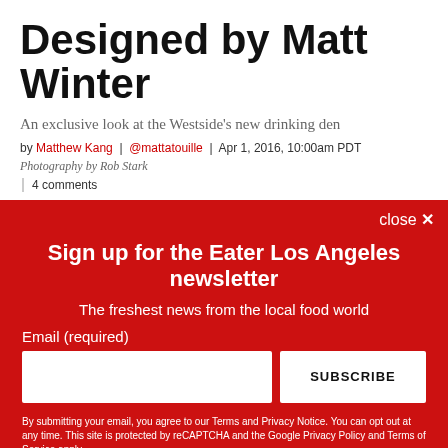Designed by Matt Winter
An exclusive look at the Westside's new drinking den
by Matthew Kang | @mattatouille | Apr 1, 2016, 10:00am PDT
Photography by Rob Stark
4 comments
Sign up for the Eater Los Angeles newsletter
The freshest news from the local food world
Email (required)
SUBSCRIBE
By submitting your email, you agree to our Terms and Privacy Notice. You can opt out at any time. This site is protected by reCAPTCHA and the Google Privacy Policy and Terms of Service apply.